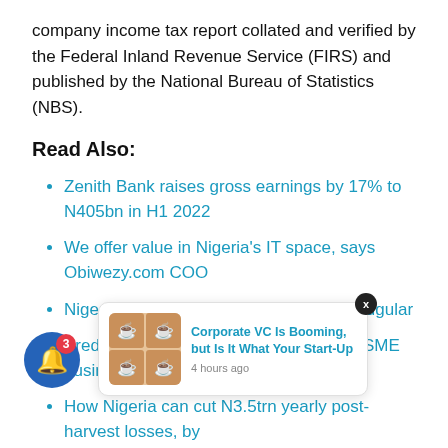company income tax report collated and verified by the Federal Inland Revenue Service (FIRS) and published by the National Bureau of Statistics (NBS).
Read Also:
Zenith Bank raises gross earnings by 17% to N405bn in H1 2022
We offer value in Nigeria's IT space, says Obiwezy.com COO
Nigeria's forex crisis has airlines by the jugular
Predictive, critical variables of Nigeria's SME business failures
How Nigeria can cut N3.5trn yearly post-harvest losses, by...
Nigeria's revenue collection is now in full gear as the economy fully recovers from the pressures of the
[Figure (other): A popup notification card showing coffee cup images and a title 'Corporate VC Is Booming, but Is It What Your Start-Up' with timestamp '4 hours ago'. A blue notification bubble with bell icon and badge '3' is also visible.]